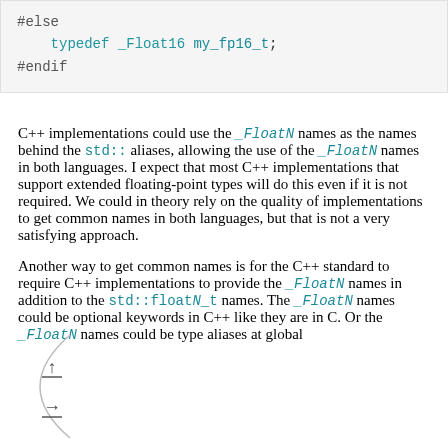[Figure (screenshot): Code block showing C preprocessor directives: #else, typedef _Float16 my_fp16_t;, #endif]
C++ implementations could use the _FloatN names as the names behind the std:: aliases, allowing the use of the _FloatN names in both languages. I expect that most C++ implementations that support extended floating-point types will do this even if it is not required. We could in theory rely on the quality of implementations to get common names in both languages, but that is not a very satisfying approach.
Another way to get common names is for the C++ standard to require C++ implementations to provide the _FloatN names in addition to the std::floatN_t names. The _FloatN names could be optional keywords in C++ like they are in C. Or the _FloatN names could be type aliases at global